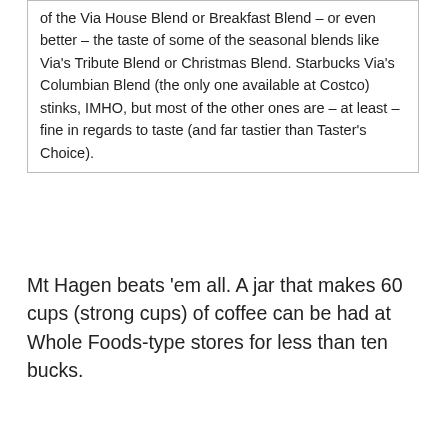of the Via House Blend or Breakfast Blend – or even better – the taste of some of the seasonal blends like Via's Tribute Blend or Christmas Blend. Starbucks Via's Columbian Blend (the only one available at Costco) stinks, IMHO, but most of the other ones are – at least – fine in regards to taste (and far tastier than Taster's Choice).
Mt Hagen beats 'em all. A jar that makes 60 cups (strong cups) of coffee can be had at Whole Foods-type stores for less than ten bucks.
[Figure (photo): Avatar photo showing a road leading toward mountains with snow, viewed from a low angle]
plawrence
Re: Favorite Food tips
May 21, 2012 10:19AM
Registered: 13 years ago
Posts: 4,166